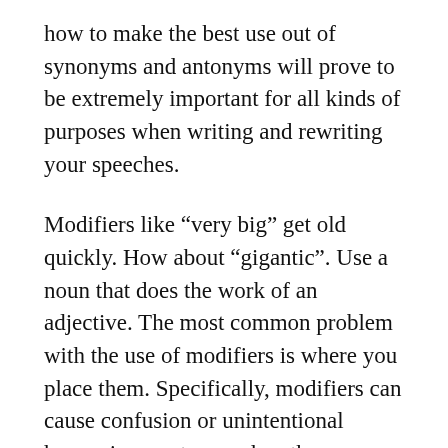how to make the best use out of synonyms and antonyms will prove to be extremely important for all kinds of purposes when writing and rewriting your speeches.
Modifiers like “very big” get old quickly. How about “gigantic”. Use a noun that does the work of an adjective. The most common problem with the use of modifiers is where you place them. Specifically, modifiers can cause confusion or unintentional humor in a sentence when they are placed too far from the noun they are modifying. Reducing your work count by replacing entire sentences with a single word or two works great. Also, seek out those two for one-word opportunities. Every